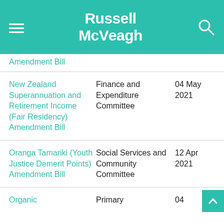Russell McVeagh
Amendment Bill
New Zealand Superannuation and Retirement Income (Fair Residency) Amendment Bill | Finance and Expenditure Committee | 04 May 2021
Oranga Tamariki (Youth Justice Demerit Points) Amendment Bill | Social Services and Community Committee | 12 Apr 2021
Organic | Primary | 04